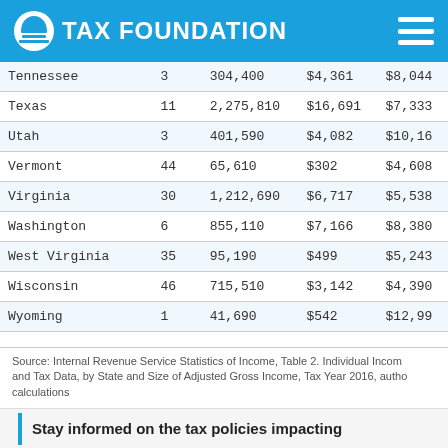TAX FOUNDATION
| State | Rank | Count | Amount | Per Return |
| --- | --- | --- | --- | --- |
| Tennessee | 3 | 304,400 | $4,361 | $8,044 |
| Texas | 11 | 2,275,810 | $16,691 | $7,333 |
| Utah | 3 | 401,590 | $4,082 | $10,16 |
| Vermont | 44 | 65,610 | $302 | $4,608 |
| Virginia | 30 | 1,212,690 | $6,717 | $5,538 |
| Washington | 6 | 855,110 | $7,166 | $8,380 |
| West Virginia | 35 | 95,190 | $499 | $5,243 |
| Wisconsin | 46 | 715,510 | $3,142 | $4,390 |
| Wyoming | 1 | 41,690 | $542 | $12,99 |
Source: Internal Revenue Service Statistics of Income, Table 2. Individual Income and Tax Data, by State and Size of Adjusted Gross Income, Tax Year 2016, author calculations
Stay informed on the tax policies impacting